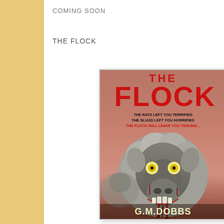COMING SOON
THE FLOCK
[Figure (illustration): Book cover for 'The Flock' by G.M.Dobbs. Horror book cover featuring a zombie/mutant sheep with glowing yellow eyes and a bloodied mouth, set against a reddish-brown background. Title 'THE FLOCK' in large red distressed letters at top. Taglines read: 'The Rats left you TERRIFIED / The Slugs left you HORRIFIED / THE FLOCK WILL LEAVE YOU TRAUMATI[ZED]'. Author name G.M.DOBBS at bottom.]